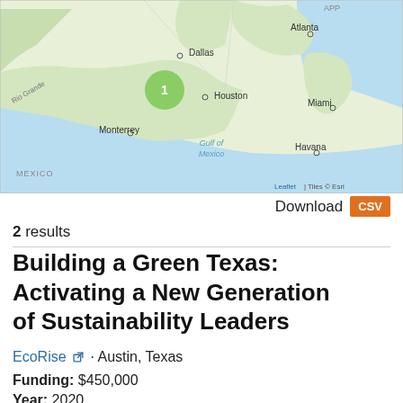[Figure (map): Map showing southeastern United States and Gulf of Mexico region. Cities labeled: Dallas, Atlanta, Houston, Monterrey, Miami, Havana. A green circle marker labeled '1' is positioned near Houston, Texas. Labels include 'Rio Grande', 'Gulf of Mexico', 'MEXICO'. Attribution: 'Leaflet | Tiles © Esri']
Download CSV
2 results
Building a Green Texas: Activating a New Generation of Sustainability Leaders
EcoRise · Austin, Texas
Funding: $450,000
Year: 2020